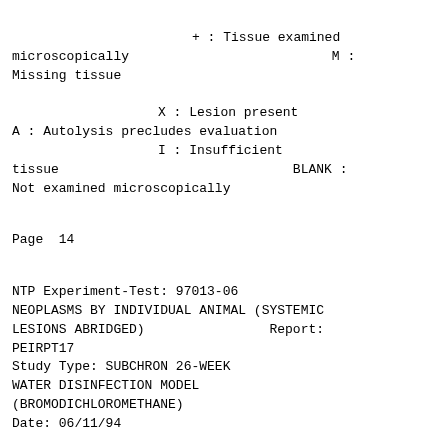+ : Tissue examined microscopically      M :
Missing tissue

                    X : Lesion present
A : Autolysis precludes evaluation
                    I : Insufficient
tissue                              BLANK :
Not examined microscopically
Page  14
NTP Experiment-Test: 97013-06
NEOPLASMS BY INDIVIDUAL ANIMAL (SYSTEMIC
LESIONS ABRIDGED)                Report:
PEIRPT17
Study Type: SUBCHRON 26-WEEK
WATER DISINFECTION MODEL
(BROMODICHLOROMETHANE)
Date: 06/11/94